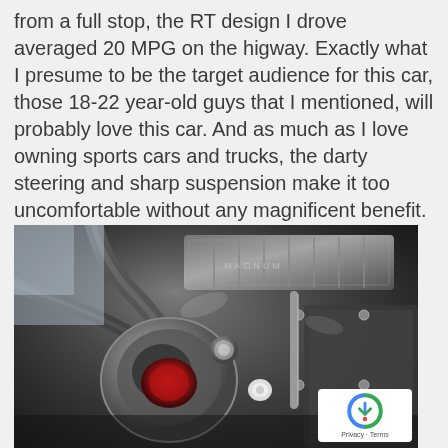from a full stop, the RT design I drove averaged 20 MPG on the higway. Exactly what I presume to be the target audience for this car, those 18-22 year-old guys that I mentioned, will probably love this car. And as much as I love owning sports cars and trucks, the darty steering and sharp suspension make it too uncomfortable without any magnificent benefit. The 0-60 sprint is enjoyable for a little while, but I 'd pass on purchasing a Magnum as an everyday owning automobile.
[Figure (photo): Close-up photograph of a car engine bay showing dark metallic engine components including valve cover, hoses, and mechanical parts.]